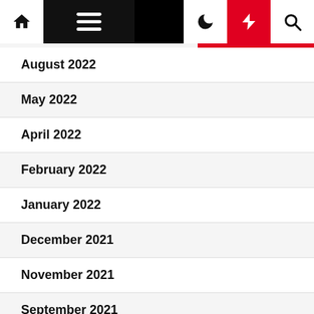Navigation bar with home, menu, dark mode, flash, and search icons
August 2022
May 2022
April 2022
February 2022
January 2022
December 2021
November 2021
September 2021
August 2021